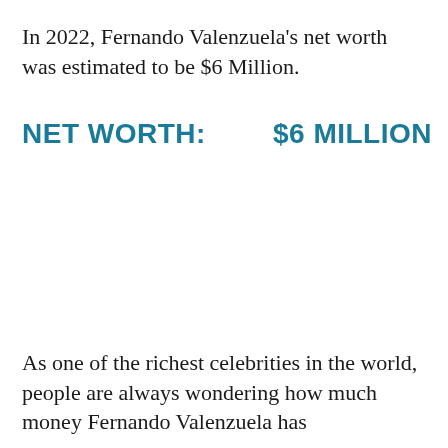In 2022, Fernando Valenzuela's net worth was estimated to be $6 Million.
NET WORTH:    $6 MILLION
As one of the richest celebrities in the world, people are always wondering how much money Fernando Valenzuela has